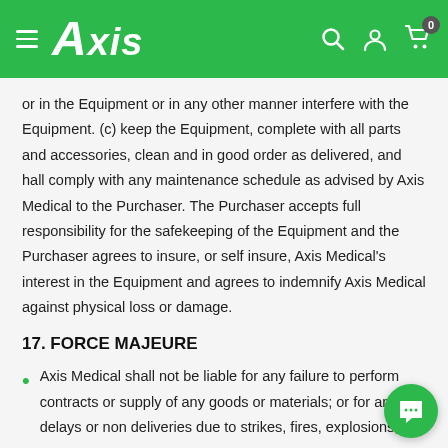Axis Medical - Header navigation bar
or in the Equipment or in any other manner interfere with the Equipment. (c) keep the Equipment, complete with all parts and accessories, clean and in good order as delivered, and hall comply with any maintenance schedule as advised by Axis Medical to the Purchaser. The Purchaser accepts full responsibility for the safekeeping of the Equipment and the Purchaser agrees to insure, or self insure, Axis Medical's interest in the Equipment and agrees to indemnify Axis Medical against physical loss or damage.
17. FORCE MAJEURE
Axis Medical shall not be liable for any failure to perform contracts or supply of any goods or materials; or for any delays or non deliveries due to strikes, fires, explosions,